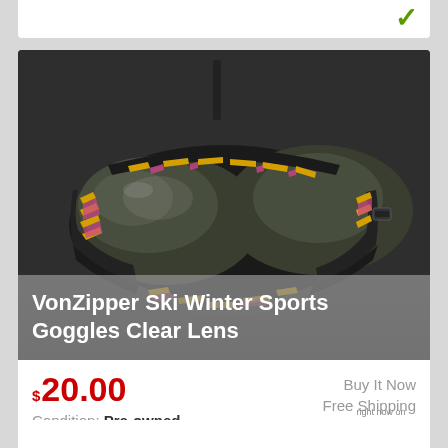[Figure (photo): VonZipper ski goggles with colorful patterned frame (pink, yellow, black) and clear lens, photographed on a dark gray background]
VonZipper Ski Winter Sports Goggles Clear Lens
$20.00
Buy It Now
Free Shipping
Condition: Pre-owned
Location: Roseland, United States
[Figure (logo): eBay logo with 'right now on' text above it]